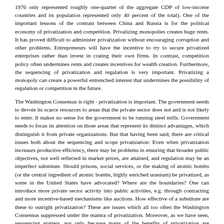1976 only represented roughly one-quarter of the aggregate GDP of low-income countries and its population represented only 40 percent of the total). One of the important lessons of the contrast between China and Russia is for the political economy of privatization and competition. Privatizing monopolies creates huge rents. It has proved difficult to administer privatization without encouraging corruption and other problems. Entrepreneurs will have the incentive to try to secure privatized enterprises rather than invest in crating their own firms. In contrast, competition policy often undermines rents and creates incentives for wealth creation. Furthermore, the sequencing of privatization and regulation is very important. Privatizing a monopoly can create a powerful entrenched interest that undermines the possibility of regulation or competition in the future.
The Washington Consensus is right - privatization is important. The government needs to devote its scarce resources to areas that the private sector does not and is not likely to enter. It makes no sense for the government to be running steel mills. Government needs to focus its attention on those areas that represent its distinct advantages, which distinguish it from private organizations. But that having been said, there are critical issues both about the sequencing and scope privatization: Even when privatization increases productive efficiency, there may be problems in ensuring that broader public objectives, not well reflected in market prices, are attained, and regulation may be an imperfect substitute. Should prisons, social services, or the making of atomic bombs (or the central ingredient of atomic bombs, highly enriched uranium) be privatized, as some in the United States have advocated? Where are the boundaries? One can introduce more private sector activity into public activities, e.g. through contracting and more incentive-based mechanisms like auctions. How effective of a substitute are these to outright privatization? These are issues which all too often the Washington Consensus suppressed under the mantra of privatization. Moreover, as we have seen, sequencing matters, not only because many of the benefits of privatization are achieved only in the context of competitive markets, but also because powerful interest groups can be created which suppress competition or which resist regulations to curb the abuses of monopoly power. Regulation As I have noted, competition is an essential ingredient of a successful market economy. But there are some sectors of the economy in which competition is not viable - the so-called natural monopolies